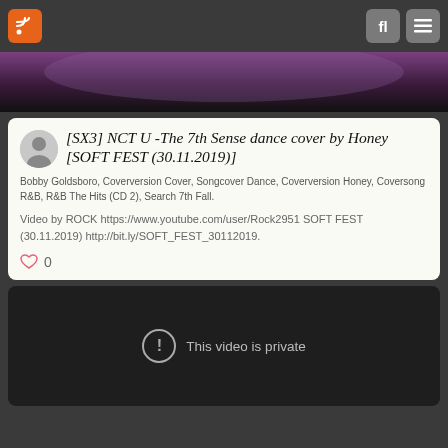RSS feed navigation bar with search and menu icons
[Figure (photo): Cropped top portion of a video thumbnail showing purple stage lighting]
[SX3] NCT U -The 7th Sense dance cover by Honey [SOFT FEST (30.11.2019)]
Bobby Goldsboro, Coverversion Cover, Songcover Dance, Coverversion Honey, Coversong R&B, R&B The Hits (CD 2), Search 7th Fall.
Video by ROCK https://www.youtube.com/user/Rock2951 SOFT FEST (30.11.2019) http://bit.ly/SOFT_FEST_30112019.
0
[Figure (screenshot): Video player showing 'This video is private' message on dark background]